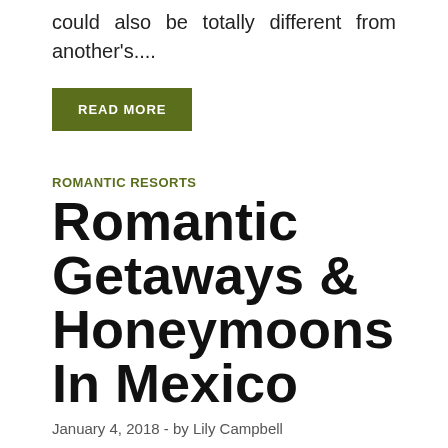could also be totally different from another's....
READ MORE
ROMANTIC RESORTS
Romantic Getaways & Honeymoons In Mexico
January 4, 2018  -  by Lily Campbell
I've put together my checklist of the perfect